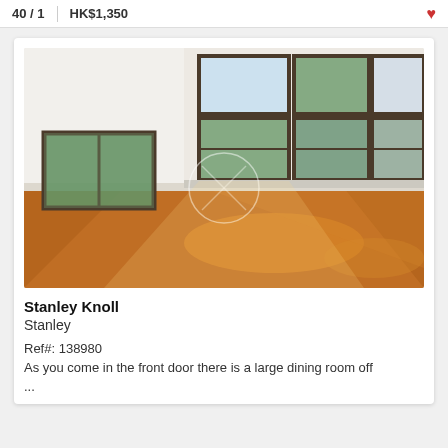… | HK$1,350
[Figure (photo): Interior photo of an empty bright room with large panoramic windows showing green trees outside, polished wooden parquet flooring reflecting sunlight, white walls.]
Stanley Knoll
Stanley
Ref#: 138980
As you come in the front door there is a large dining room off
...